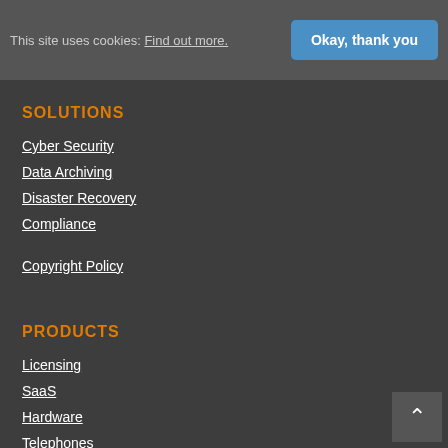This site uses cookies: Find out more. | Okay, thank you
SOLUTIONS
Cyber Security
Data Archiving
Disaster Recovery
Compliance
Copyright Policy
PRODUCTS
Licensing
SaaS
Hardware
Telephones
Ofcom Compliance